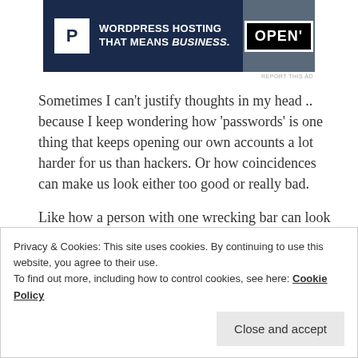[Figure (advertisement): WordPress hosting ad banner with dark navy background, P logo, text 'WORDPRESS HOSTING THAT MEANS BUSINESS.' and an OPEN sign photo]
REPORT THIS AD
Sometimes I can't justify thoughts in my head .. because I keep wondering how 'passwords' is one thing that keeps opening our own accounts a lot harder for us than hackers. Or how coincidences can make us look either too good or really bad.
Like how a person with one wrecking bar can look more suspicious than a person carrying three of them.
Privacy & Cookies: This site uses cookies. By continuing to use this website, you agree to their use.
To find out more, including how to control cookies, see here: Cookie Policy
Close and accept